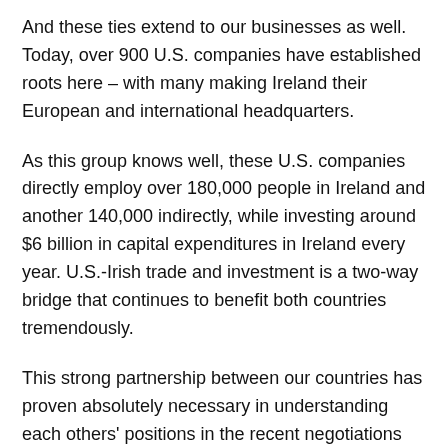And these ties extend to our businesses as well. Today, over 900 U.S. companies have established roots here – with many making Ireland their European and international headquarters.
As this group knows well, these U.S. companies directly employ over 180,000 people in Ireland and another 140,000 indirectly, while investing around $6 billion in capital expenditures in Ireland every year. U.S.-Irish trade and investment is a two-way bridge that continues to benefit both countries tremendously.
This strong partnership between our countries has proven absolutely necessary in understanding each others' positions in the recent negotiations on international tax.